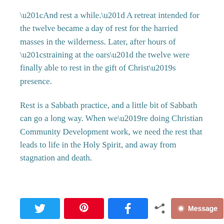“And rest a while.” A retreat intended for the twelve became a day of rest for the harried masses in the wilderness. Later, after hours of “straining at the oars” the twelve were finally able to rest in the gift of Christ’s presence.
Rest is a Sabbath practice, and a little bit of Sabbath can go a long way. When we’re doing Christian Community Development work, we need the rest that leads to life in the Holy Spirit, and away from stagnation and death.
[Figure (other): Social sharing buttons: Twitter (blue), Pinterest (red), Facebook (blue), share icon, and a Message button (salmon/coral color with chat icon)]